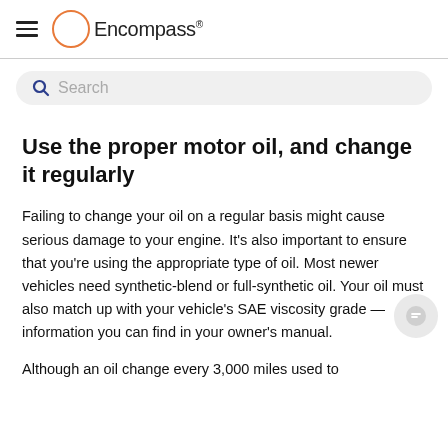Encompass
Search
Use the proper motor oil, and change it regularly
Failing to change your oil on a regular basis might cause serious damage to your engine. It's also important to ensure that you're using the appropriate type of oil. Most newer vehicles need synthetic-blend or full-synthetic oil. Your oil must also match up with your vehicle's SAE viscosity grade — information you can find in your owner's manual.
Although an oil change every 3,000 miles used to